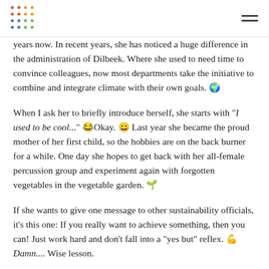[logo] [menu]
years now. In recent years, she has noticed a huge difference in the administration of Dilbeek. Where she used to need time to convince colleagues, now most departments take the initiative to combine and integrate climate with their own goals. 🌍
When I ask her to briefly introduce herself, she starts with "I used to be cool..." 😂Okay. 😄 Last year she became the proud mother of her first child, so the hobbies are on the back burner for a while. One day she hopes to get back with her all-female percussion group and experiment again with forgotten vegetables in the vegetable garden. 🌱
If she wants to give one message to other sustainability officials, it's this one: If you really want to achieve something, then you can! Just work hard and don't fall into a "yes but" reflex. 💪Damn.... Wise lesson.